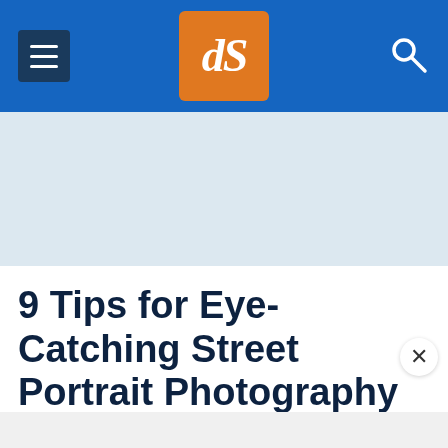dPS navigation bar with hamburger menu, dPS logo, and search icon
[Figure (other): Light blue advertisement banner placeholder area]
9 Tips for Eye-Catching Street Portrait Photography